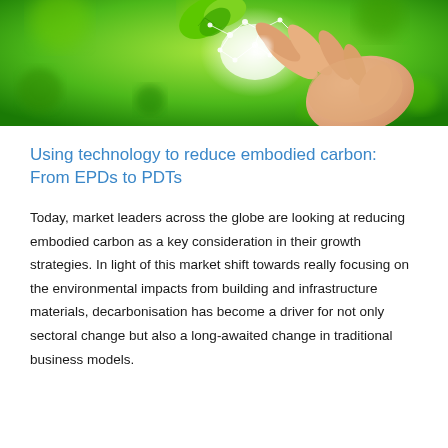[Figure (photo): Close-up of a human hand touching a glowing green plant/leaf with network connection dots and lines on a bright green bokeh background, representing environmental technology.]
Using technology to reduce embodied carbon: From EPDs to PDTs
Today, market leaders across the globe are looking at reducing embodied carbon as a key consideration in their growth strategies. In light of this market shift towards really focusing on the environmental impacts from building and infrastructure materials, decarbonisation has become a driver for not only sectoral change but also a long-awaited change in traditional business models.